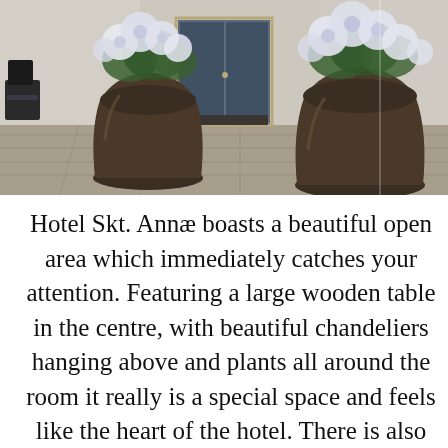[Figure (photo): Photo of a hotel entrance (Hotel Skt. Annæ) featuring two large dark brown ceramic pots with white hydrangea flowers, a glass door entrance, stone paving, and outdoor seating visible on the left.]
Hotel Skt. Annæ boasts a beautiful open area which immediately catches your attention. Featuring a large wooden table in the centre, with beautiful chandeliers hanging above and plants all around the room it really is a special space and feels like the heart of the hotel. There is also writing on the wall explaining Hotel Skt. Annæ's history and other interestic